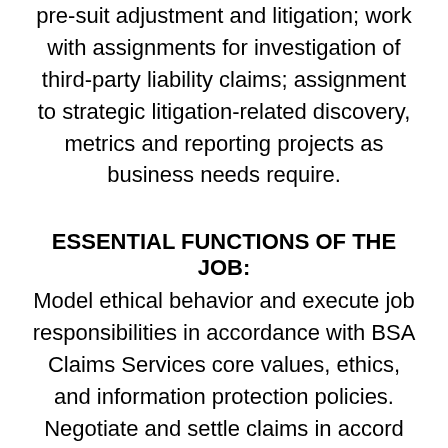pre-suit adjustment and litigation; work with assignments for investigation of third-party liability claims; assignment to strategic litigation-related discovery, metrics and reporting projects as business needs require.
ESSENTIAL FUNCTIONS OF THE JOB:
Model ethical behavior and execute job responsibilities in accordance with BSA Claims Services core values, ethics, and information protection policies. Negotiate and settle claims in accord with BSA Claims Services Best Claims Practices and